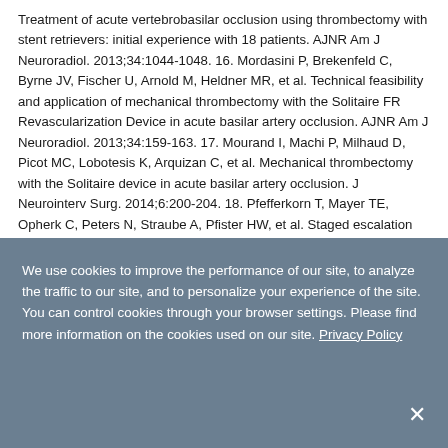Treatment of acute vertebrobasilar occlusion using thrombectomy with stent retrievers: initial experience with 18 patients. AJNR Am J Neuroradiol. 2013;34:1044-1048. 16. Mordasini P, Brekenfeld C, Byrne JV, Fischer U, Arnold M, Heldner MR, et al. Technical feasibility and application of mechanical thrombectomy with the Solitaire FR Revascularization Device in acute basilar artery occlusion. AJNR Am J Neuroradiol. 2013;34:159-163. 17. Mourand I, Machi P, Milhaud D, Picot MC, Lobotesis K, Arquizan C, et al. Mechanical thrombectomy with the Solitaire device in acute basilar artery occlusion. J Neurointerv Surg. 2014;6:200-204. 18. Pfefferkorn T, Mayer TE, Opherk C, Peters N, Straube A, Pfister HW, et al. Staged escalation therapy in acute basilar...
We use cookies to improve the performance of our site, to analyze the traffic to our site, and to personalize your experience of the site. You can control cookies through your browser settings. Please find more information on the cookies used on our site. Privacy Policy